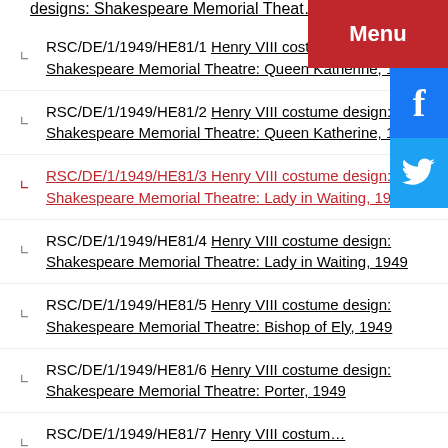designs: Shakespeare Memorial Theatre: [truncated at top]
RSC/DE/1/1949/HE81/1 Henry VIII costume design: Shakespeare Memorial Theatre: Queen Katherine, 1949
RSC/DE/1/1949/HE81/2 Henry VIII costume design: Shakespeare Memorial Theatre: Queen Katherine, 1949
RSC/DE/1/1949/HE81/3 Henry VIII costume design: Shakespeare Memorial Theatre: Lady in Waiting, 1949
RSC/DE/1/1949/HE81/4 Henry VIII costume design: Shakespeare Memorial Theatre: Lady in Waiting, 1949
RSC/DE/1/1949/HE81/5 Henry VIII costume design: Shakespeare Memorial Theatre: Bishop of Ely, 1949
RSC/DE/1/1949/HE81/6 Henry VIII costume design: Shakespeare Memorial Theatre: Porter, 1949
RSC/DE/1/1949/HE81/7 Henry VIII costume [truncated at bottom]